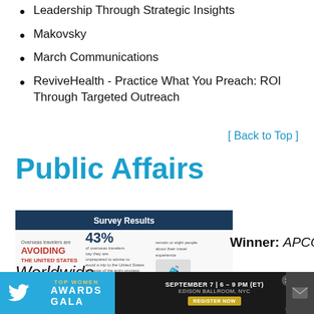Leadership Through Strategic Insights
Makovsky
March Communications
ReviveHealth - Practice What You Preach: ROI Through Targeted Outreach
[ Back to Top ]
Public Affairs
[Figure (infographic): Survey Results infographic showing overseas traveler statistics: 43% avoiding the United States, 100mil travelers, 62% statistics, with icons of travelers, airplanes, and luggage]
Winner: APCO
Worldwide
Honorable Mentions:
[Figure (infographic): Advertisement banner: Top Women Awards Gala, September 7 | 6-9 PM (ET), Edison Ballroom, NYC, Register Now, PRNEWS]